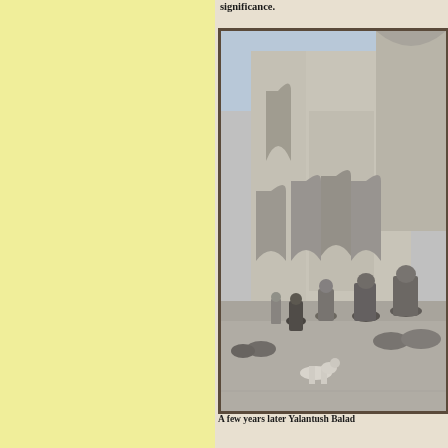significance.
[Figure (photo): Black and white historical photograph showing a Central Asian market scene in front of an ornate Islamic building with arched facades. Several figures in traditional robes and head coverings are gathered in the foreground, with a goat visible at lower center.]
A few years later Yalantush Balad...